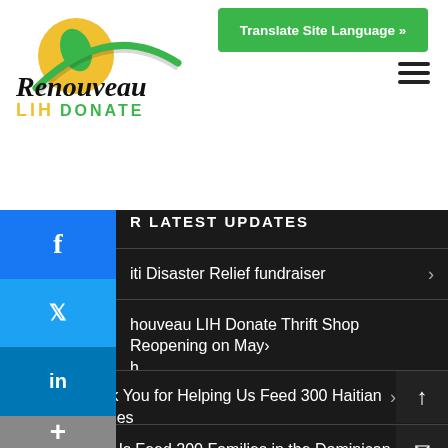[Figure (logo): Renouveau LIH Donate logo with yellow/green circular leaf icon and stylized text]
Translate Site Language »
[Figure (other): Hamburger menu icon (three horizontal bars)]
[Figure (other): Social media sidebar icons: Facebook, Twitter, LinkedIn, Plus]
R LATEST UPDATES
iti Disaster Relief fundraiser
houveau LIH Donate Thrift Shop Reopening on May h
Thank You for Helping Us Feed 300 Haitian Families in the Dominican Republic
Help Us Feed 200 Families in the Dominican Republic